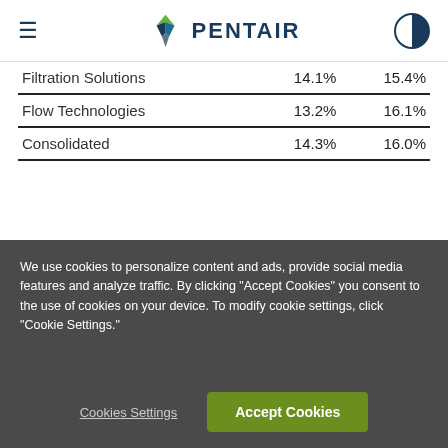Pentair
|  |  |  |
| --- | --- | --- |
| Filtration Solutions | 14.1% | 15.4% |
| Flow Technologies | 13.2% | 16.1% |
| Consolidated | 14.3% | 16.0% |
Pentair plc and Subsidiaries
Reconciliation of the GAAP year ended December 31
GAAP
excluding the effect of 2019 adjustments (U
We use cookies to personalize content and ads, provide social media features and analyze traffic. By clicking "Accept Cookies" you consent to the use of cookies on your device. To modify cookie settings, click "Cookie Settings."